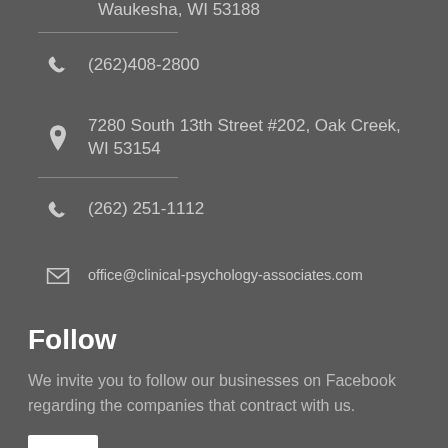Waukesha, WI 53188
(262)408-2800
7280 South 13th Street #202, Oak Creek, WI 53154
(262) 251-1112
office@clinical-psychology-associates.com
Follow
We invite you to follow our businesses on Facebook regarding the companies that contract with us.
[Figure (logo): Facebook logo icon in white square box with italic f letter]